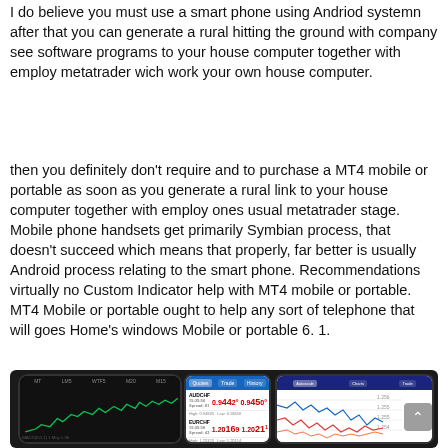I do believe you must use a smart phone using Andriod systemn after that you can generate a rural hitting the ground with company see software programs to your house computer together with employ metatrader wich work your own house computer.
then you definitely don't require and to purchase a MT4 mobile or portable as soon as you generate a rural link to your house computer together with employ ones usual metatrader stage. Mobile phone handsets get primarily Symbian process, that doesn't succeed which means that properly, far better is usually Android process relating to the smart phone. Recommendations virtually no Custom Indicator help with MT4 mobile or portable. MT4 Mobile or portable ought to help any sort of telephone that will goes Home's windows Mobile or portable 6. 1.
[Figure (photo): Smartphone mockup showing MT4 mobile trading platform with three phones displaying different screens: a chart on the left phone, a quotes list (AUDCHF, EURCHF, GOLD) in the center phone, and a line chart on the right phone.]